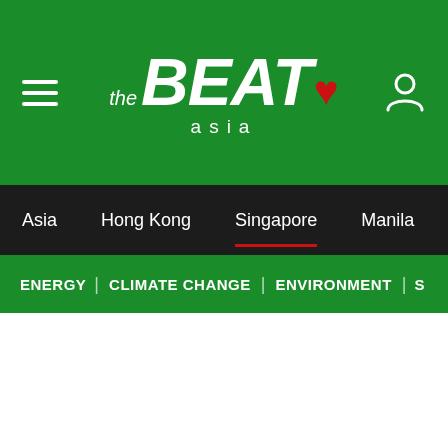[Figure (screenshot): The Beat Asia website header with green background, hamburger menu icon on left, 'the BEAT asia' logo in center with red heart, and user/account icon on right]
Asia | Hong Kong | Singapore | Manila | Bang...
ENERGY | CLIMATE CHANGE | ENVIRONMENT | S...
[Figure (screenshot): White content area below navigation bars]